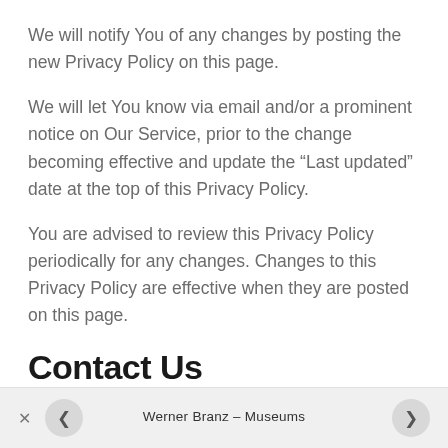We will notify You of any changes by posting the new Privacy Policy on this page.
We will let You know via email and/or a prominent notice on Our Service, prior to the change becoming effective and update the “Last updated” date at the top of this Privacy Policy.
You are advised to review this Privacy Policy periodically for any changes. Changes to this Privacy Policy are effective when they are posted on this page.
Contact Us
Werner Branz – Museums